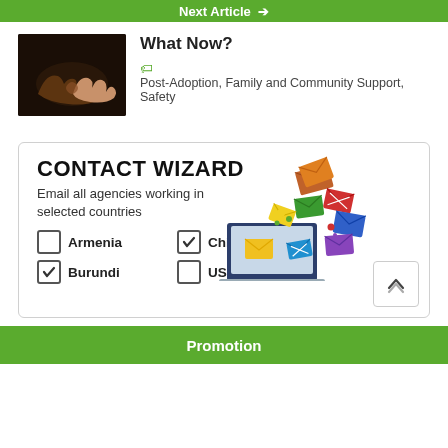Next Article →
What Now?
Post-Adoption, Family and Community Support, Safety
[Figure (infographic): Contact Wizard box with email envelopes illustration, laptop, and country checkboxes. Armenia (unchecked), China (checked), Burundi (checked), USA (unchecked).]
Promotion